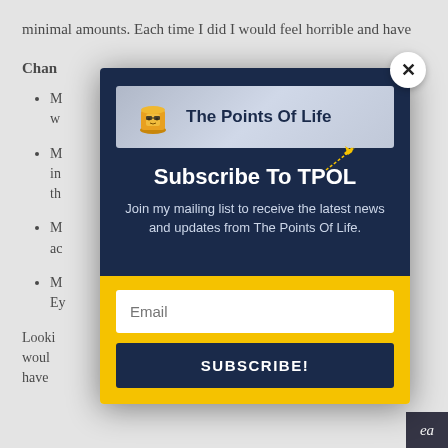minimal amounts. Each time I did I would feel horrible and have
Chan
M... 2 w...
M... ed in th...
M... ac...
M... Black Ey...
Looki... woul... have...
[Figure (screenshot): A modal popup overlay on a webpage. The modal has a dark navy blue top section with a logo banner reading 'The Points Of Life' with a drink icon and airplane graphic, a title 'Subscribe To TPOL', subtitle text 'Join my mailing list to receive the latest news and updates from The Points Of Life.', and a yellow bottom section with an Email input field and a 'SUBSCRIBE!' button. A close (X) button appears in the top-right corner of the modal.]